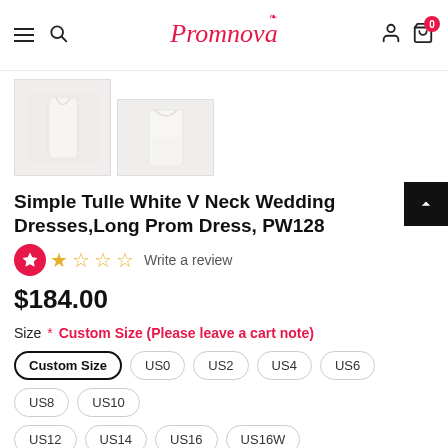Promnova navigation bar with hamburger menu, search, logo, user icon, and cart (0)
[Figure (photo): Two white wedding dress product thumbnail images side by side]
Simple Tulle White V Neck Wedding Dresses,Long Prom Dress, PW128
★ ☆ ☆ ☆ Write a review
$184.00
Size * Custom Size (Please leave a cart note)
Custom Size  US0  US2  US4  US6  US8  US10  US12  US14  US16  US16W